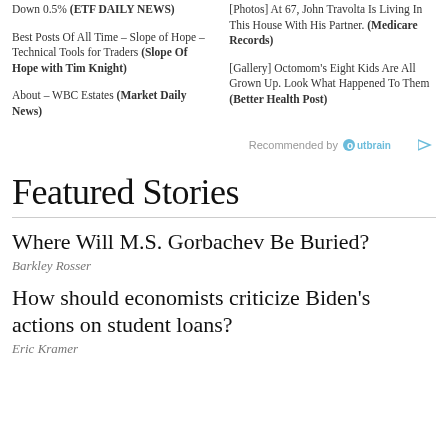Down 0.5% (ETF DAILY NEWS)
Best Posts Of All Time – Slope of Hope – Technical Tools for Traders (Slope Of Hope with Tim Knight)
About – WBC Estates (Market Daily News)
[Photos] At 67, John Travolta Is Living In This House With His Partner. (Medicare Records)
[Gallery] Octomom's Eight Kids Are All Grown Up. Look What Happened To Them (Better Health Post)
Recommended by Outbrain
Featured Stories
Where Will M.S. Gorbachev Be Buried?
Barkley Rosser
How should economists criticize Biden's actions on student loans?
Eric Kramer